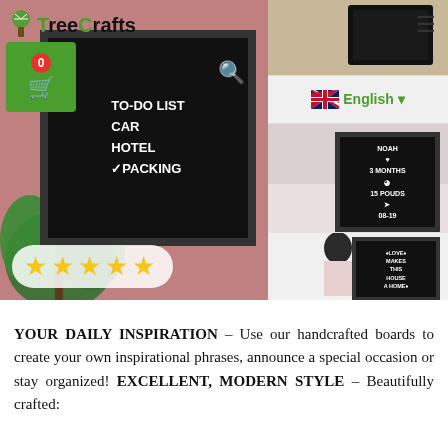[Figure (screenshot): E-commerce website screenshot showing TreeCrafts letter boards. Left side shows a large black felt letter board with TO-DO LIST, CAR, HOTEL, PACKING text on a pink wall background with palm plant. Bottom left has 5 yellow stars rating. Right column shows three smaller product images: top - letter board on wooden surface, middle - NOAH 3 MONTHS 15 POUNDS 08-19 baby milestone board, bottom - person holding a letter board with love quote. Navigation bar shows TreeCrafts logo, green cart button with 0, search icon, hamburger menu, and English language selector.]
YOUR DAILY INSPIRATION – Use our handcrafted boards to create your own inspirational phrases, announce a special occasion or stay organized! EXCELLENT, MODERN STYLE – Beautifully crafted: